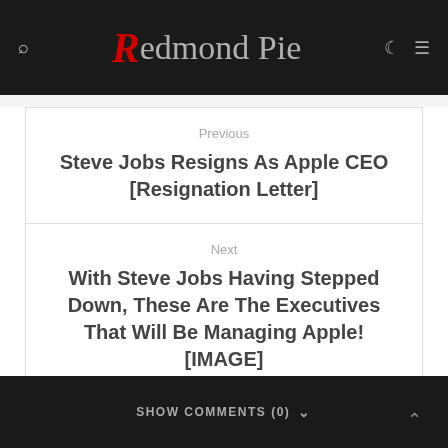Redmond Pie
Previous
Steve Jobs Resigns As Apple CEO [Resignation Letter]
Next
With Steve Jobs Having Stepped Down, These Are The Executives That Will Be Managing Apple! [IMAGE]
SHOW COMMENTS (0)